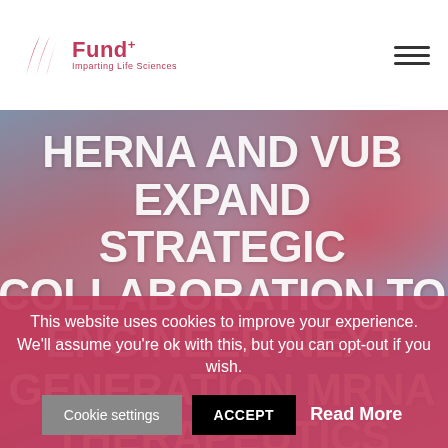Fund+ Imparting Life Sciences
[Figure (photo): Abstract blurred microscopy or flag image with red, blue, and grey tones serving as hero background]
HERNA AND VUB EXPAND STRATEGIC COLLABORATION TO ENGINEER NEXT GENERATION MRNA THERAPEUTICS WITH
This website uses cookies to improve your experience. We'll assume you're ok with this, but you can opt-out if you wish.
Cookie settings   ACCEPT   Read More